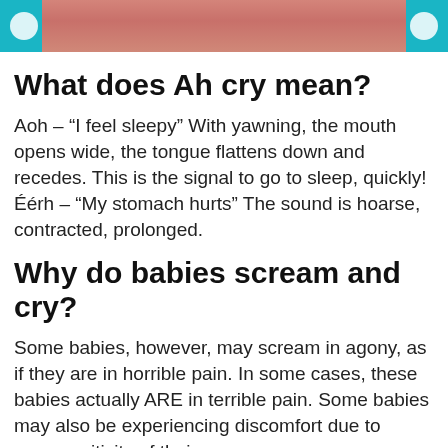[Figure (photo): Top banner image showing a baby or child in a pink top, with teal/cyan panels on each side containing white circular dots.]
What does Ah cry mean?
Aoh – “I feel sleepy” With yawning, the mouth opens wide, the tongue flattens down and recedes. This is the signal to go to sleep, quickly! Éérh – “My stomach hurts” The sound is hoarse, contracted, prolonged.
Why do babies scream and cry?
Some babies, however, may scream in agony, as if they are in horrible pain. In some cases, these babies actually ARE in terrible pain. Some babies may also be experiencing discomfort due to oversensitivity of their